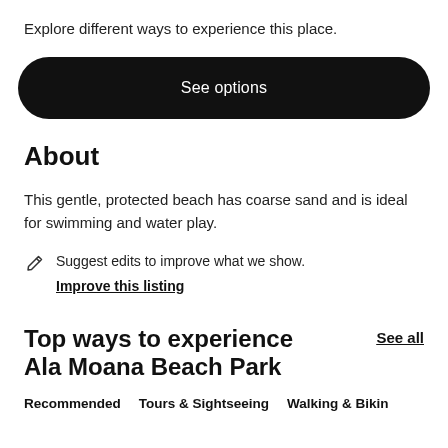Explore different ways to experience this place.
See options
About
This gentle, protected beach has coarse sand and is ideal for swimming and water play.
Suggest edits to improve what we show. Improve this listing
Top ways to experience Ala Moana Beach Park
See all
Recommended
Tours & Sightseeing
Walking & Biking